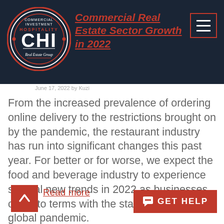[Figure (logo): CHI Commercial Investment Hospitality Real Estate Group circular badge logo in dark red and white on dark navy background]
Commercial Real Estate Sector Growth in 2022
From the increased prevalence of ordering online delivery to the restrictions brought on by the pandemic, the restaurant industry has run into significant changes this past year. For better or for worse, we expect the food and beverage industry to experience several new trends in 2022 as businesses come to terms with the staying power of the global pandemic.
Read more